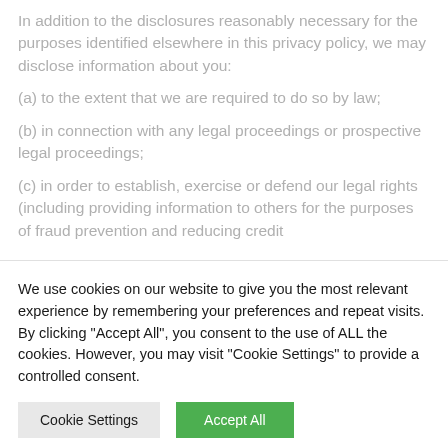In addition to the disclosures reasonably necessary for the purposes identified elsewhere in this privacy policy, we may disclose information about you:
(a) to the extent that we are required to do so by law;
(b) in connection with any legal proceedings or prospective legal proceedings;
(c) in order to establish, exercise or defend our legal rights (including providing information to others for the purposes of fraud prevention and reducing credit
We use cookies on our website to give you the most relevant experience by remembering your preferences and repeat visits. By clicking "Accept All", you consent to the use of ALL the cookies. However, you may visit "Cookie Settings" to provide a controlled consent.
Cookie Settings | Accept All